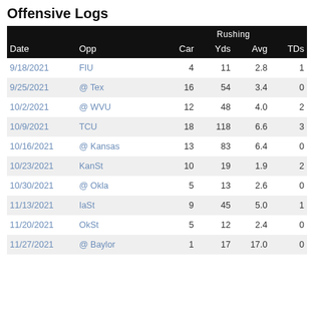Offensive Logs
| Date | Opp | Car | Yds | Avg | TDs |
| --- | --- | --- | --- | --- | --- |
| 9/18/2021 | FIU | 4 | 11 | 2.8 | 1 |
| 9/25/2021 | @ Tex | 16 | 54 | 3.4 | 0 |
| 10/2/2021 | @ WVU | 12 | 48 | 4.0 | 2 |
| 10/9/2021 | TCU | 18 | 118 | 6.6 | 3 |
| 10/16/2021 | @ Kansas | 13 | 83 | 6.4 | 0 |
| 10/23/2021 | KanSt | 10 | 19 | 1.9 | 2 |
| 10/30/2021 | @ Okla | 5 | 13 | 2.6 | 0 |
| 11/13/2021 | IaSt | 9 | 45 | 5.0 | 1 |
| 11/20/2021 | OkSt | 5 | 12 | 2.4 | 0 |
| 11/27/2021 | @ Baylor | 1 | 17 | 17.0 | 0 |